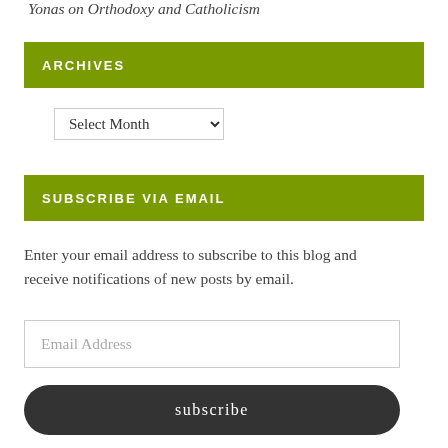Yonas on Orthodoxy and Catholicism
ARCHIVES
Select Month
SUBSCRIBE VIA EMAIL
Enter your email address to subscribe to this blog and receive notifications of new posts by email.
Email Address
subscribe